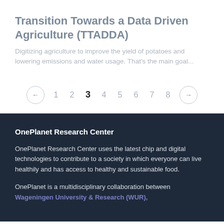Transition Towards a Data Driven Agriculture (TTADDA)
Digitizing agriculture to improve the yield of potatoes and lowering emissions and water usage. That's the main goal...
[Figure (other): Pagination navigation showing page 3 active out of 8 pages, with left and right arrow buttons]
OnePlanet Research Center
OnePlanet Research Center uses the latest chip and digital technologies to contribute to a society in which everyone can live healthily and has access to healthy and sustainable food.
OnePlanet is a multidisciplinary collaboration between Wageningen University & Research (WUR),